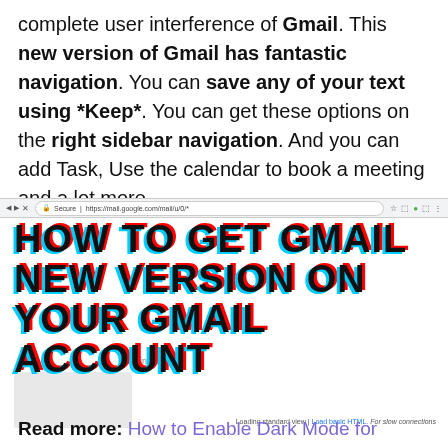complete user interference of Gmail. This new version of Gmail has fantastic navigation. You can save any of your text using *Keep*. You can get these options on the right sidebar navigation. And you can add Task, Use the calendar to book a meeting and a lot more.
[Figure (screenshot): Screenshot of a browser showing Gmail loading page with stylized text overlay reading 'HOW TO GET GMAIL NEW VERSION ON YOUR GMAIL ACCOUNT' in bold glitch-style font, with a 'Loading Gmail' message and a grey loading box below.]
Read more: How to Enable Dark Mode for